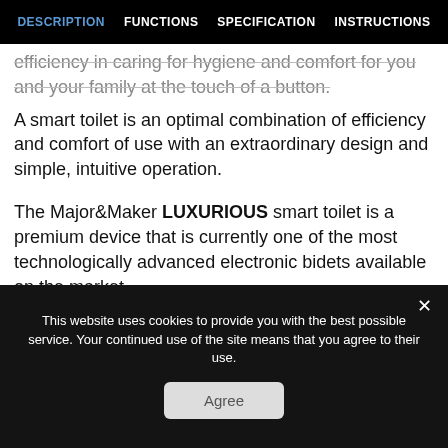DESCRIPTION  FUNCTIONS  SPECIFICATION  INSTRUCTIONS
efficiency in caring for hygiene and comfort for you and your family at the touch of a button.
A smart toilet is an optimal combination of efficiency and comfort of use with an extraordinary design and simple, intuitive operation.
The Major&Maker LUXURIOUS smart toilet is a premium device that is currently one of the most technologically advanced electronic bidets available on the market.
Using the Major&Maker LUXURIUOUS smart toilet reduces the risk of bacterial infections in the intimate areas.
This website uses cookies to provide you with the best possible service. Your continued use of the site means that you agree to their use.